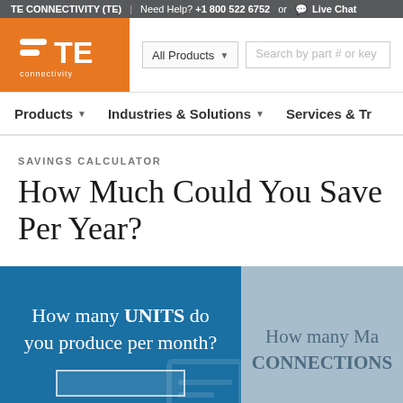TE CONNECTIVITY (TE) | Need Help? +1 800 522 6752 or 💬 Live Chat
[Figure (logo): TE Connectivity logo — white stylized equals sign and TE lettering on orange background with 'connectivity' below]
All Products ▼  Search by part # or key
Products ▼   Industries & Solutions ▼   Services & Tr…
SAVINGS CALCULATOR
How Much Could You Save Per Year?
How many UNITS do you produce per month?
How many Ma… CONNECTIONS…